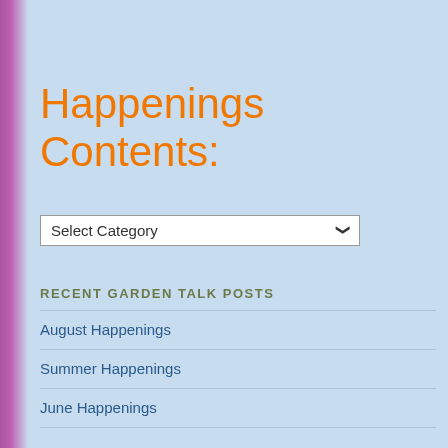Happenings Contents:
[Figure (screenshot): Dropdown selector showing 'Select Category' with a chevron arrow]
RECENT GARDEN TALK POSTS
August Happenings
Summer Happenings
June Happenings